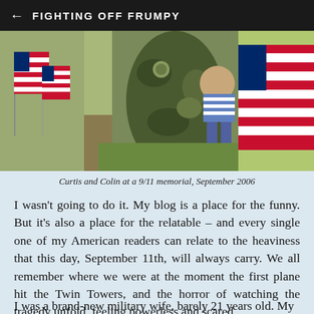← FIGHTING OFF FRUMPY
[Figure (photo): A person in military camouflage uniform holding a child, surrounded by American flags at a 9/11 memorial]
Curtis and Colin at a 9/11 memorial, September 2006
I wasn't going to do it. My blog is a place for the funny. But it's also a place for the relatable – and every single one of my American readers can relate to the heaviness that this day, September 11th, will always carry. We all remember where we were at the moment the first plane hit the Twin Towers, and the horror of watching the tragedy unfold, feeling powerless and scared.
I was a brand-new military wife, barely 21 years old. My